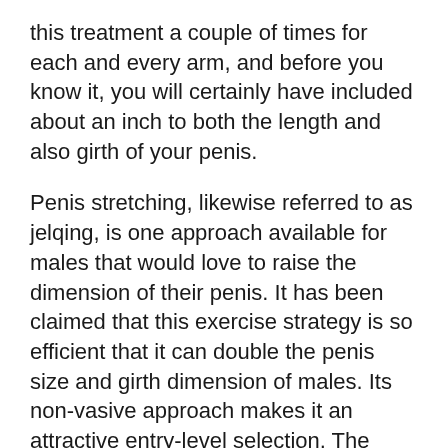this treatment a couple of times for each and every arm, and before you know it, you will certainly have included about an inch to both the length and also girth of your penis.
Penis stretching, likewise referred to as jelqing, is one approach available for males that would love to raise the dimension of their penis. It has been claimed that this exercise strategy is so efficient that it can double the penis size and girth dimension of males. Its non-vasive approach makes it an attractive entry-level selection. The most significant inquiry still exists: does it really work?
2 In 1 Vacuum Belt Penis Hanger Extender